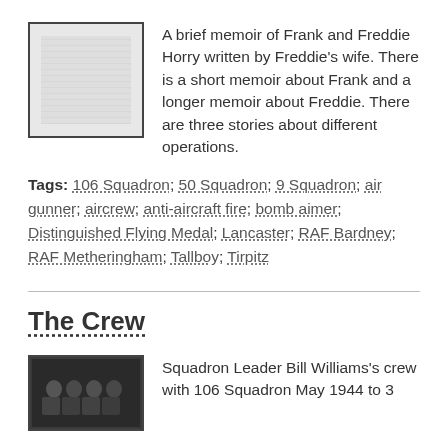[Figure (photo): Thumbnail image of a handwritten or typed document page]
A brief memoir of Frank and Freddie Horry written by Freddie's wife. There is a short memoir about Frank and a longer memoir about Freddie. There are three stories about different operations.
Tags: 106 Squadron; 50 Squadron; 9 Squadron; air gunner; aircrew; anti-aircraft fire; bomb aimer; Distinguished Flying Medal; Lancaster; RAF Bardney; RAF Metheringham; Tallboy; Tirpitz
The Crew
[Figure (photo): Black and white group photo of aircrew]
Squadron Leader Bill Williams's crew with 106 Squadron May 1944 to 3